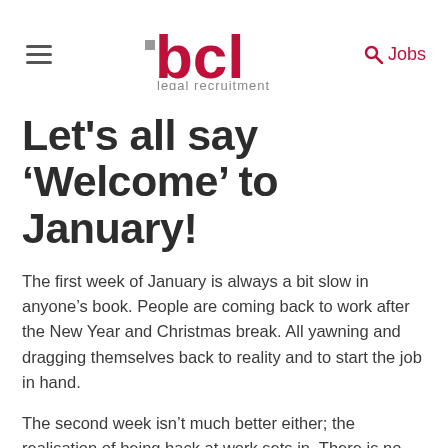bcl legal recruitment — Jobs
Let's all say ‘Welcome’ to January!
The first week of January is always a bit slow in anyone’s book. People are coming back to work after the New Year and Christmas break. All yawning and dragging themselves back to reality and to start the job in hand.
The second week isn’t much better either; the realisation of being back at work sets in. There is no more Christmas excitement hanging around, people